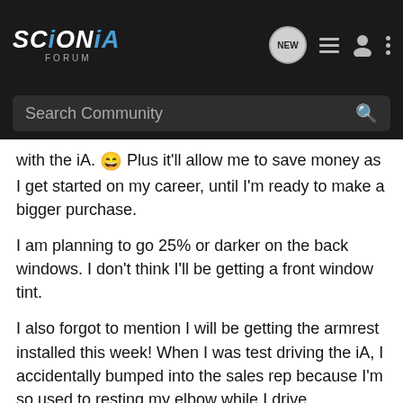SCIONiA FORUM — header with search bar
with the iA. 😄 Plus it'll allow me to save money as I get started on my career, until I'm ready to make a bigger purchase.
I am planning to go 25% or darker on the back windows. I don't think I'll be getting a front window tint.
I also forgot to mention I will be getting the armrest installed this week! When I was test driving the iA, I accidentally bumped into the sales rep because I'm so used to resting my elbow while I drive. #awkward
richard_rsp said: ↑ Welcome and congrats! 🙂